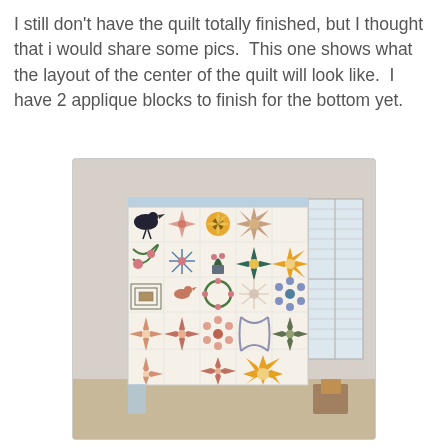I still don't have the quilt totally finished, but I thought that i would share some pics.  This one shows what the layout of the center of the quilt will look like.  I have 2 applique blocks to finish for the bottom yet.
[Figure (photo): A large quilt with many different applique and patchwork blocks displayed hanging on a wall in a room. The quilt features floral, star, bird, and geometric block patterns in pinks, blues, greens, and golds on a cream background.]